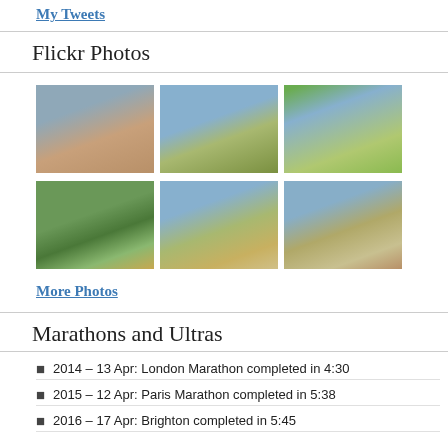My Tweets
Flickr Photos
[Figure (photo): Grid of 6 outdoor/landscape photographs showing moorland, hills, trees, horses and donkeys]
More Photos
Marathons and Ultras
2014 – 13 Apr: London Marathon completed in 4:30
2015 – 12 Apr: Paris Marathon completed in 5:38
2016 – 17 Apr: Brighton completed in 5:45